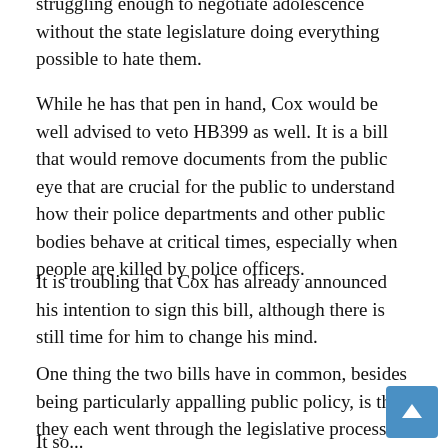struggling enough to negotiate adolescence without the state legislature doing everything possible to hate them.
While he has that pen in hand, Cox would be well advised to veto HB399 as well. It is a bill that would remove documents from the public eye that are crucial for the public to understand how their police departments and other public bodies behave at critical times, especially when people are killed by police officers.
It is troubling that Cox has already announced his intention to sign this bill, although there is still time for him to change his mind.
One thing the two bills have in common, besides being particularly appalling public policy, is that they each went through the legislative process in a way that suggests lawmakers knew how bad each was and hoped no one would notice what they were doing.
It so...
[Figure (other): Blue scroll-to-top button with upward arrow icon in bottom-right corner]